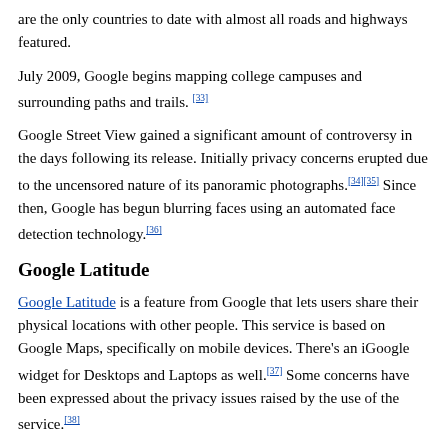are the only countries to date with almost all roads and highways featured.
July 2009, Google begins mapping college campuses and surrounding paths and trails. [33]
Google Street View gained a significant amount of controversy in the days following its release. Initially privacy concerns erupted due to the uncensored nature of its panoramic photographs.[34][35] Since then, Google has begun blurring faces using an automated face detection technology.[36]
Google Latitude
Google Latitude is a feature from Google that lets users share their physical locations with other people. This service is based on Google Maps, specifically on mobile devices. There's an iGoogle widget for Desktops and Laptops as well.[37] Some concerns have been expressed about the privacy issues raised by the use of the service.[38]
Mashups